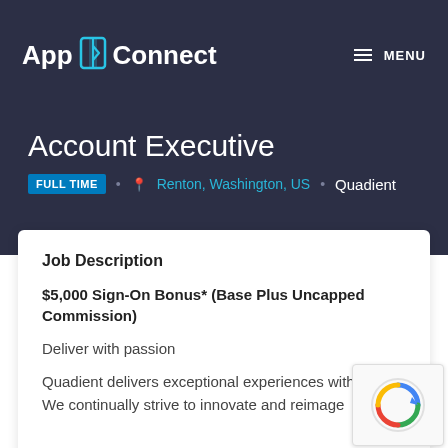App Connect  MENU
Account Executive
FULL TIME  •  Renton, Washington, US  •  Quadient
Job Description
$5,000 Sign-On Bonus* (Base Plus Uncapped Commission)
Deliver with passion
Quadient delivers exceptional experiences with pas... We continually strive to innovate and reimage